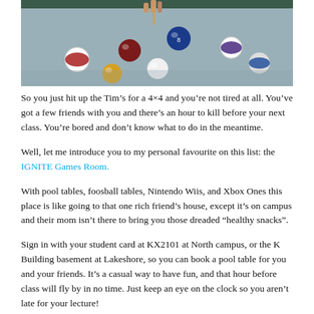[Figure (photo): Photo of a billiards/pool table with colorful pool balls scattered on the green felt surface, with a hand holding a cue stick visible at the top.]
So you just hit up the Tim's for a 4×4 and you're not tired at all. You've got a few friends with you and there's an hour to kill before your next class. You're bored and don't know what to do in the meantime.
Well, let me introduce you to my personal favourite on this list: the IGNITE Games Room.
With pool tables, foosball tables, Nintendo Wiis, and Xbox Ones this place is like going to that one rich friend's house, except it's on campus and their mom isn't there to bring you those dreaded "healthy snacks".
Sign in with your student card at KX2101 at North campus, or the K Building basement at Lakeshore, so you can book a pool table for you and your friends. It's a casual way to have fun, and that hour before class will fly by in no time. Just keep an eye on the clock so you aren't late for your lecture!